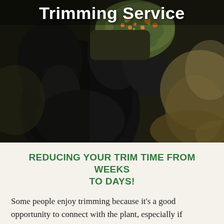Trimming Service
[Figure (photo): Close-up macro photograph of black-gloved hands holding a cannabis bud, with blurred green and brown plant material in the background]
REDUCING YOUR TRIM TIME FROM WEEKS TO DAYS!
Some people enjoy trimming because it's a good opportunity to connect with the plant, especially if